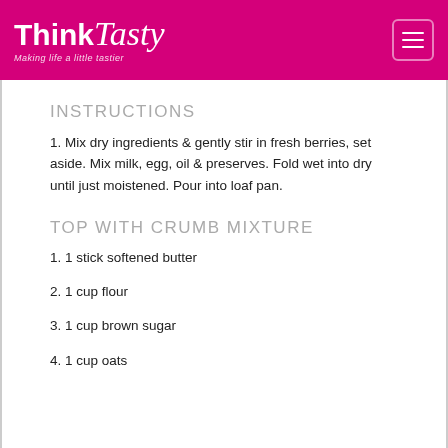Think Tasty — Making life a little tastier
INSTRUCTIONS
1. Mix dry ingredients & gently stir in fresh berries, set aside. Mix milk, egg, oil & preserves. Fold wet into dry until just moistened. Pour into loaf pan.
TOP WITH CRUMB MIXTURE
1. 1 stick softened butter
2. 1 cup flour
3. 1 cup brown sugar
4. 1 cup oats